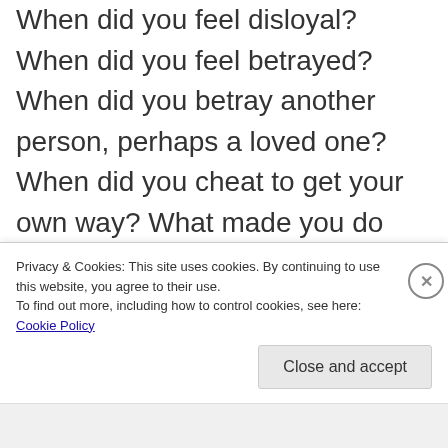When did you feel disloyal? When did you feel betrayed? When did you betray another person, perhaps a loved one? When did you cheat to get your own way? What made you do such a thing? When did you feel selfish? When did you feel gluttonous? When did you feel out of control? When did you feel lustful? Why?
If you experiment with the idea of re...
Privacy & Cookies: This site uses cookies. By continuing to use this website, you agree to their use.
To find out more, including how to control cookies, see here: Cookie Policy
Close and accept